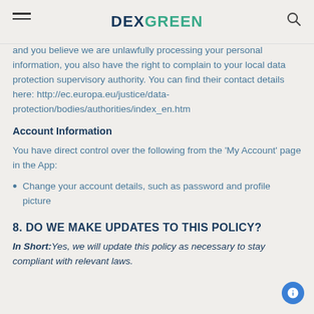DEXGREEN
and you believe we are unlawfully processing your personal information, you also have the right to complain to your local data protection supervisory authority. You can find their contact details here: http://ec.europa.eu/justice/data-protection/bodies/authorities/index_en.htm
Account Information
You have direct control over the following from the 'My Account' page in the App:
Change your account details, such as password and profile picture
8. DO WE MAKE UPDATES TO THIS POLICY?
In Short: Yes, we will update this policy as necessary to stay compliant with relevant laws.